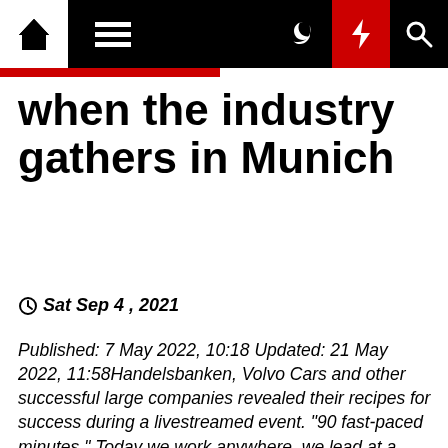Navigation bar with home, menu, moon, bolt, and search icons
when the industry gathers in Munich
Sat Sep 4 , 2021
Published: 7 May 2022, 10:18 Updated: 21 May 2022, 11:58Handelsbanken, Volvo Cars and other successful large companies revealed their recipes for success during a livestreamed event. "90 fast-paced minutes." Today we work anywhere, we lead at a distance, develop together and collaborate across borders and time zones. What does it [...]